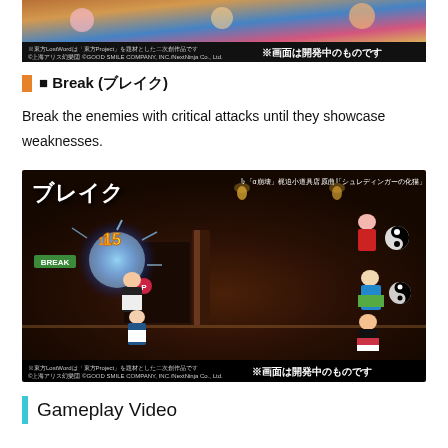[Figure (screenshot): Top game screenshot showing anime-style characters in a colorful battle scene with copyright notice and '画面は開発中のものです' notice]
■ Break (ブレイク)
Break the enemies with critical attacks until they showcase weaknesses.
[Figure (screenshot): Game screenshot showing 'ブレイク' (Break) phase of battle in Touhou LostWord. Shows anime characters fighting in a tavern/pub setting with BREAK indicator, damage numbers, yin-yang symbols, copyright notice and '画面は開発中のものです']
Gameplay Video